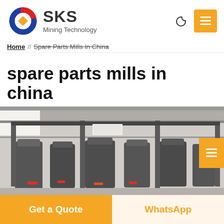[Figure (logo): SKS Mining Technology logo with red/blue/yellow circular icon and bold SKS text]
Home // Spare Parts Mills In China
spare parts mills in china
[Figure (photo): Industrial mining mill machinery inside a factory building]
Get a Quote
WhatsApp